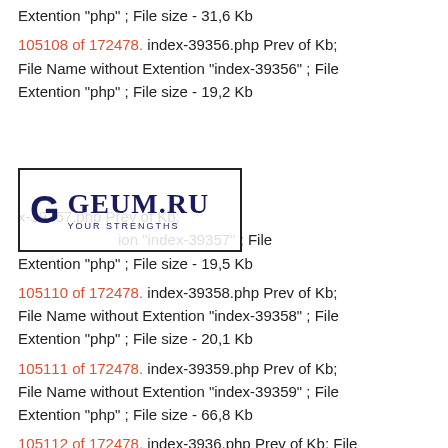Extention "php" ; File size - 31,6 Kb
105108 of 172478. index-39356.php Prev of Kb; File Name without Extention "index-39356" ; File Extention "php" ; File size - 19,2 Kb
[Figure (logo): GEUM.RU logo with 'YOUR STRENGTHS' tagline]
105109 of 172478. index-39357.php Prev of Kb; File Name without Extention "index-39357" ; File Extention "php" ; File size - 19,5 Kb
105110 of 172478. index-39358.php Prev of Kb; File Name without Extention "index-39358" ; File Extention "php" ; File size - 20,1 Kb
105111 of 172478. index-39359.php Prev of Kb; File Name without Extention "index-39359" ; File Extention "php" ; File size - 66,8 Kb
105112 of 172478. index-3936.php Prev of Kb; File Name without Extention "index-3936" ; File Extention "php" ; File size - 5,0 Kb